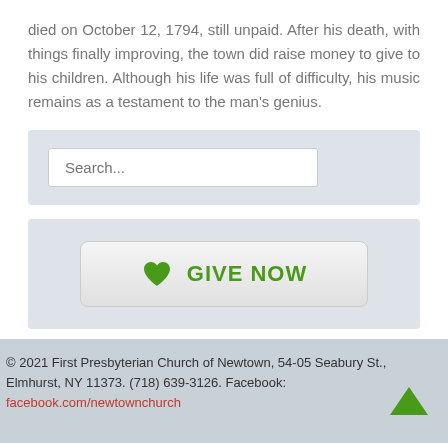died on October 12, 1794, still unpaid. After his death, with things finally improving, the town did raise money to give to his children. Although his life was full of difficulty, his music remains as a testament to the man's genius.
[Figure (screenshot): Search widget with a text input box showing placeholder text 'Search...' on a light blue-grey background]
[Figure (screenshot): Give Now button widget with a green heart icon and 'GIVE NOW' text on a light blue-grey background]
© 2021 First Presbyterian Church of Newtown, 54-05 Seabury St., Elmhurst, NY 11373. (718) 639-3126. Facebook: facebook.com/newtownchurch